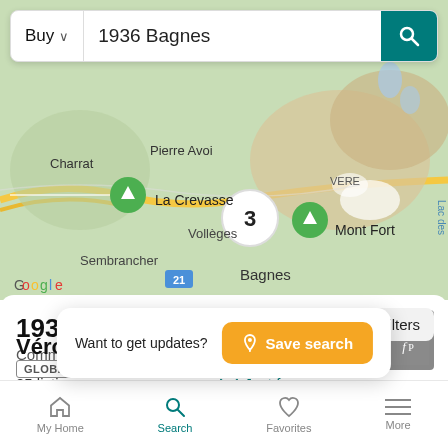[Figure (screenshot): Mobile app screenshot showing a Google map centered on Bagnes area, Switzerland. Shows locations: Charrat, Pierre Avoi, La Crevasse, Vollèges, Sembrancher, Bagnes, Mont Fort, Lac des. A cluster marker showing '3' listings is visible. Map pin icons mark La Crevasse and Mont Fort.]
1936 Bagnes
Commercial for sale
Filters
25 listings
Just for you
Want to get updates?
Save search
Véronique
GLOBAL AGENT
My Home
Search
Favorites
More